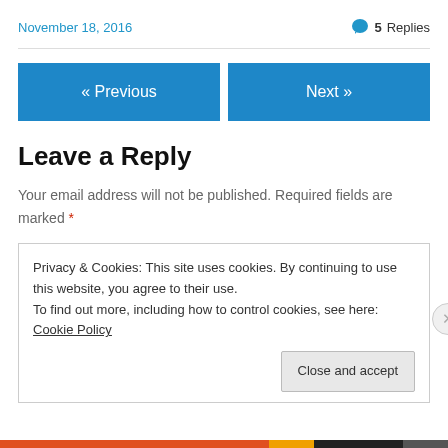November 18, 2016
💬 5 Replies
« Previous
Next »
Leave a Reply
Your email address will not be published. Required fields are marked *
Privacy & Cookies: This site uses cookies. By continuing to use this website, you agree to their use. To find out more, including how to control cookies, see here: Cookie Policy
Close and accept